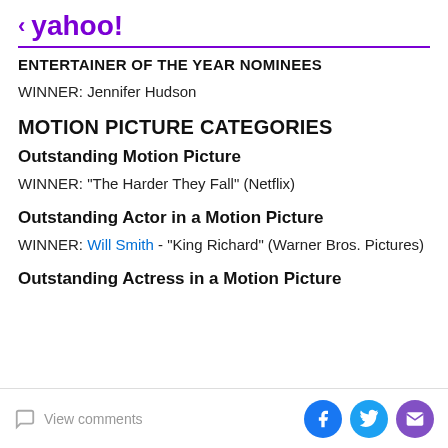< yahoo!
ENTERTAINER OF THE YEAR NOMINEES
WINNER: Jennifer Hudson
MOTION PICTURE CATEGORIES
Outstanding Motion Picture
WINNER: "The Harder They Fall" (Netflix)
Outstanding Actor in a Motion Picture
WINNER: Will Smith - "King Richard" (Warner Bros. Pictures)
Outstanding Actress in a Motion Picture
View comments